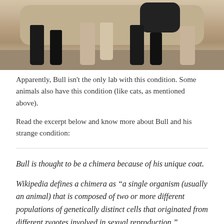[Figure (photo): Photo showing animal legs (dark and light colored) standing on a dirt/gravel surface, cropped to show only the lower body and legs]
Apparently, Bull isn't the only lab with this condition. Some animals also have this condition (like cats, as mentioned above).
Read the excerpt below and know more about Bull and his strange condition:
Bull is thought to be a chimera because of his unique coat.
Wikipedia defines a chimera as “a single organism (usually an animal) that is composed of two or more different populations of genetically distinct cells that originated from different zygotes involved in sexual reproduction.”
In layman’s terms a chimera is one particular animal